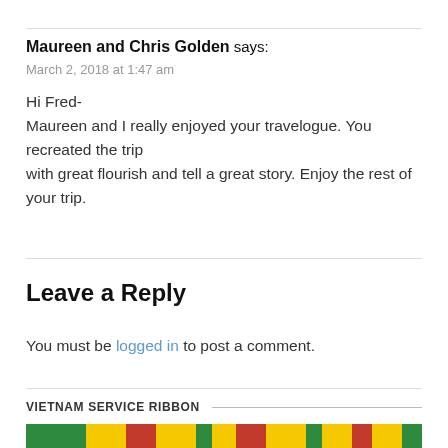Maureen and Chris Golden says:
March 2, 2018 at 1:47 am
Hi Fred-
Maureen and I really enjoyed your travelogue. You recreated the trip with great flourish and tell a great story. Enjoy the rest of your trip.
Leave a Reply
You must be logged in to post a comment.
VIETNAM SERVICE RIBBON
[Figure (illustration): Vietnam Service Ribbon — a horizontal striped ribbon bar with green, yellow, red, and other colored stripes.]